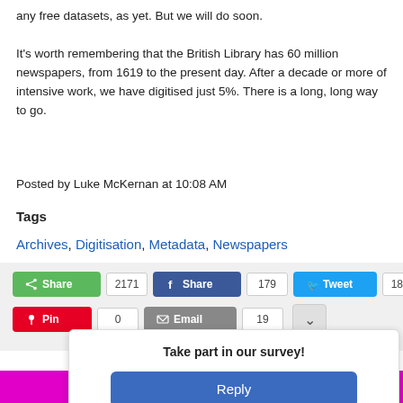any free datasets, as yet. But we will do soon.
It's worth remembering that the British Library has 60 million newspapers, from 1619 to the present day. After a decade or more of intensive work, we have digitised just 5%. There is a long, long way to go.
Posted by Luke McKernan at 10:08 AM
Tags
Archives, Digitisation, Metadata, Newspapers
[Figure (screenshot): Social sharing buttons showing: Share (green, 2171), Share (Facebook blue, 179), Tweet (Twitter blue, 1861), Pin (red, 0), Email (grey, 19), expand button]
Take part in our survey!
Reply